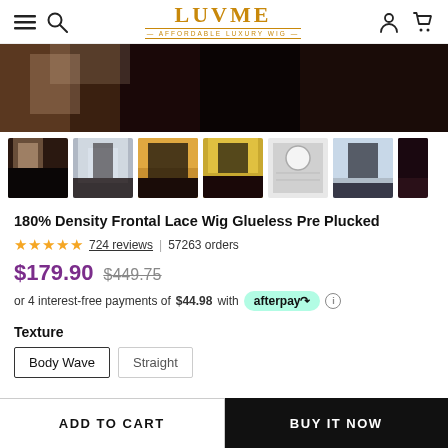LUVME — AFFORDABLE LUXURY WIG navigation header
[Figure (photo): Hero banner showing woman with long straight black hair wig, cropped closeup]
[Figure (photo): Thumbnail gallery row showing 7 product photos of wigs on models]
180% Density Frontal Lace Wig Glueless Pre Plucked
★★★★★ 724 reviews | 57263 orders
$179.90  $449.75
or 4 interest-free payments of $44.98 with afterpay
Texture
Body Wave
Straight
ADD TO CART  |  BUY IT NOW